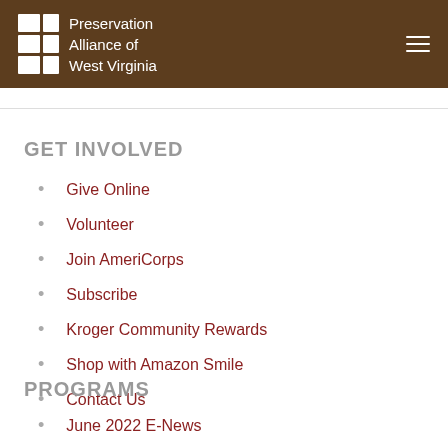Preservation Alliance of West Virginia
GET INVOLVED
Give Online
Volunteer
Join AmeriCorps
Subscribe
Kroger Community Rewards
Shop with Amazon Smile
Contact Us
PROGRAMS
June 2022 E-News